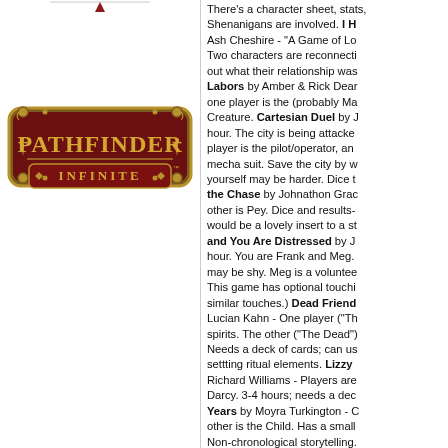[Figure (logo): Pathfinder Infinite logo — ornate dark red banner with gold border containing the text PATHFINDER above INFINITE]
There's a character sheet, stats, Shenanigans are involved. I H Ash Cheshire - "A Game of Lo Two characters are reconnecti out what their relationship was Labors by Amber & Rick Dear one player is the (probably Ma Creature. Cartesian Duel by J hour. The city is being attacke player is the pilot/operator, an mecha suit. Save the city by w yourself may be harder. Dice t the Chase by Johnathon Grac other is Pey. Dice and results- would be a lovely insert to a st and You Are Distressed by J hour. You are Frank and Meg. may be shy. Meg is a voluntee This game has optional touchi similar touches.) Dead Friend Lucian Kahn - One player ("Th spirits. The other ("The Dead") Needs a deck of cards; can us settting ritual elements. Lizzy Richard Williams - Players are Darcy. 3-4 hours; needs a dec Years by Moyra Turkington - C other is the Child. Has a small Non-chronological storytelling. TOUCHING With Fire Thy Aff Taylor LaBresh - One player is